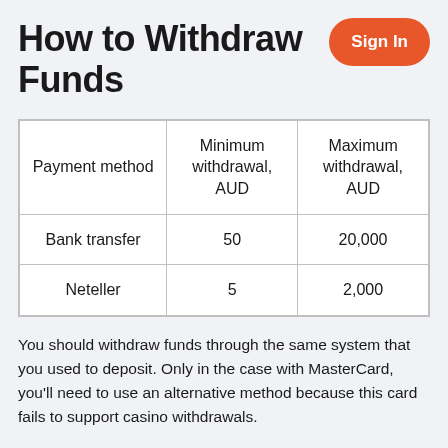How to Withdraw Funds
| Payment method | Minimum withdrawal, AUD | Maximum withdrawal, AUD |
| --- | --- | --- |
| Bank transfer | 50 | 20,000 |
| Neteller | 5 | 2,000 |
You should withdraw funds through the same system that you used to deposit. Only in the case with MasterCard, you'll need to use an alternative method because this card fails to support casino withdrawals.